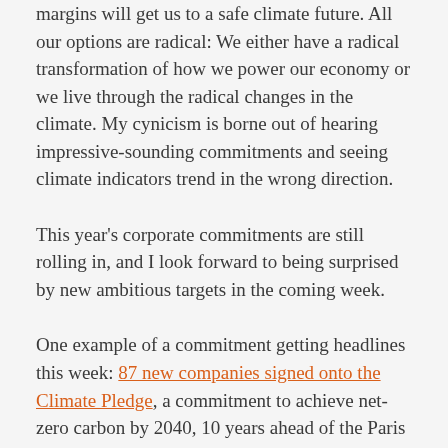margins will get us to a safe climate future. All our options are radical: We either have a radical transformation of how we power our economy or we live through the radical changes in the climate. My cynicism is borne out of hearing impressive-sounding commitments and seeing climate indicators trend in the wrong direction.
This year's corporate commitments are still rolling in, and I look forward to being surprised by new ambitious targets in the coming week.
One example of a commitment getting headlines this week: 87 new companies signed onto the Climate Pledge, a commitment to achieve net-zero carbon by 2040, 10 years ahead of the Paris Agreement. The pledge was developed by Amazon and Global Optimism,